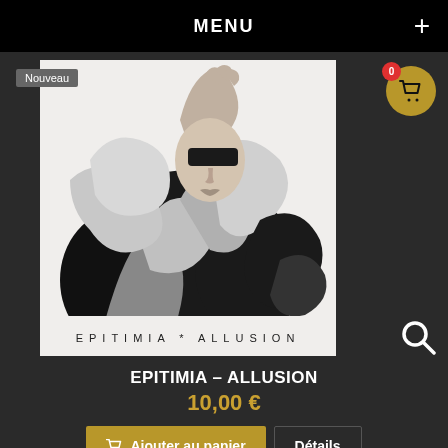MENU
Nouveau
[Figure (photo): Album cover for Epitimia - Allusion: black and white surreal artwork of a woman with flowing organic forms, text reads EPITIMIA * ALLUSION at bottom]
EPITIMIA – ALLUSION
10,00 €
Ajouter au panier
Détails